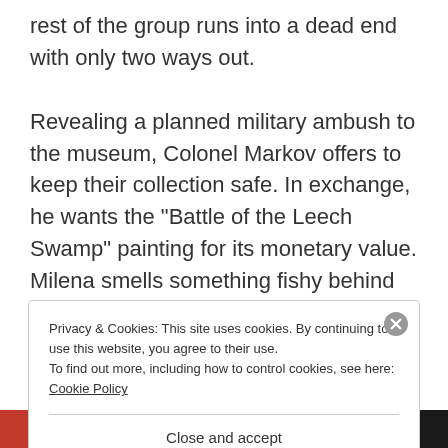rest of the group runs into a dead end with only two ways out.

Revealing a planned military ambush to the museum, Colonel Markov offers to keep their collection safe. In exchange, he wants the “Battle of the Leech Swamp” painting for its monetary value. Milena smells something fishy behind this deal, and she does not trust a selfish a…
Privacy & Cookies: This site uses cookies. By continuing to use this website, you agree to their use.
To find out more, including how to control cookies, see here: Cookie Policy
Close and accept